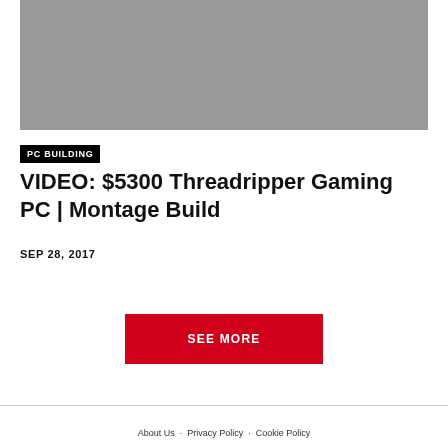[Figure (photo): Gray placeholder thumbnail image for a video about a $5300 Threadripper Gaming PC Montage Build]
PC BUILDING
VIDEO: $5300 Threadripper Gaming PC | Montage Build
SEP 28, 2017
SEE MORE
About Us · Privacy Policy · Cookie Policy